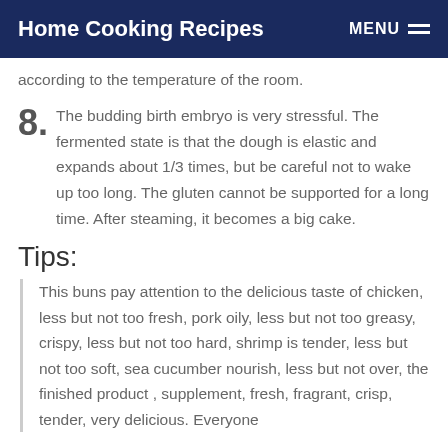Home Cooking Recipes | MENU
according to the temperature of the room.
8. The budding birth embryo is very stressful. The fermented state is that the dough is elastic and expands about 1/3 times, but be careful not to wake up too long. The gluten cannot be supported for a long time. After steaming, it becomes a big cake.
Tips:
This buns pay attention to the delicious taste of chicken, less but not too fresh, pork oily, less but not too greasy, crispy, less but not too hard, shrimp is tender, less but not too soft, sea cucumber nourish, less but not over, the finished product , supplement, fresh, fragrant, crisp, tender, very delicious. Everyone